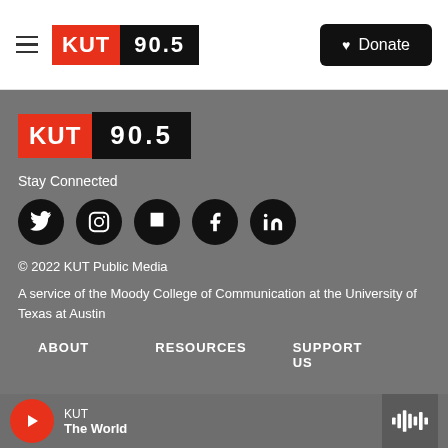KUT 90.5 — Donate
[Figure (logo): KUT 90.5 radio station logo in footer — red KUT block and black 90.5 block]
Stay Connected
[Figure (infographic): Social media icons: Twitter, Instagram, Flipboard, Facebook, LinkedIn — black circles with white icons]
© 2022 KUT Public Media
A service of the Moody College of Communication at the University of Texas at Austin
ABOUT
RESOURCES
SUPPORT US
KUT
The World